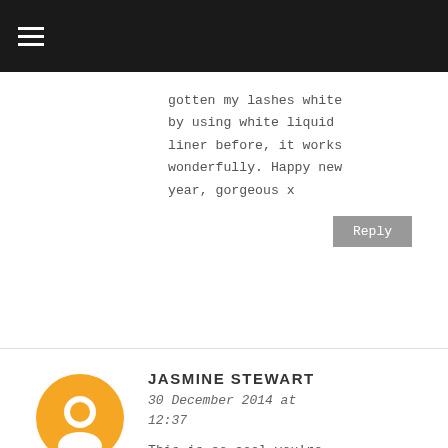≡
gotten my lashes white by using white liquid liner before, it works wonderfully. Happy new year, gorgeous x
Reply
JASMINE STEWART
30 December 2014 at 12:37
This is so cool you're very talented! - I think anyone can rock a snow queen look! Also, I got